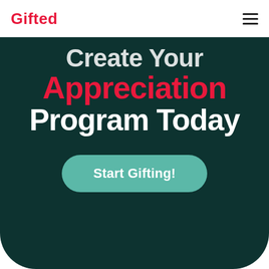Gifted
Create Your Appreciation Program Today
Start Gifting!